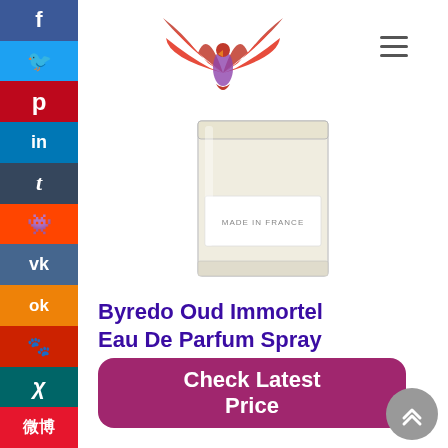[Figure (logo): Phoenix-style red/pink bird logo with wings spread, website logo]
[Figure (photo): Byredo perfume bottle - clear glass rectangular bottle with 'MADE IN FRANCE' label, light gold/clear liquid]
Byredo Oud Immortel Eau De Parfum Spray
Check Latest Price
Oud is without a doubt one of the oldest known components in perfumery, with its use being documented in